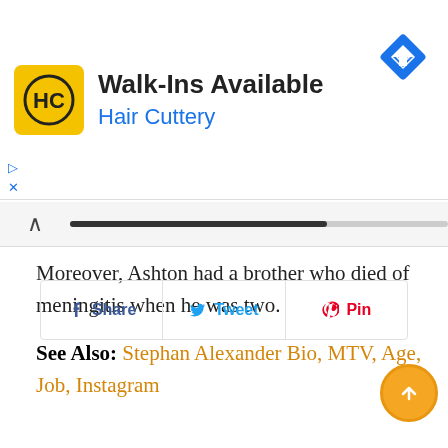[Figure (screenshot): Hair Cuttery advertisement banner with yellow HC logo, text 'Walk-Ins Available' and 'Hair Cuttery' in blue, plus blue diamond navigation icon]
Moreover, Ashton had a brother who died of meningitis when he was two.
See Also: Stephan Alexander Bio, MTV, Age, Job, Instagram
Share  Tweet  Pin